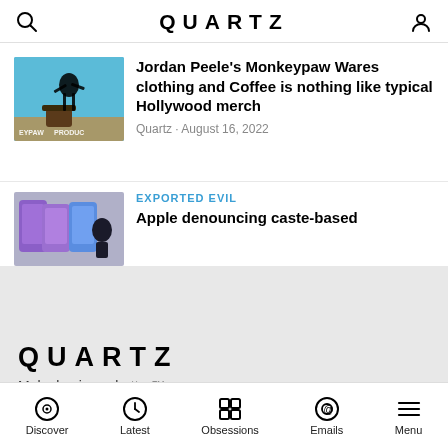QUARTZ
Jordan Peele's Monkeypaw Wares clothing and Coffee is nothing like typical Hollywood merch
Quartz • August 16, 2022
EXPORTED EVIL
Apple denouncing caste-based
QUARTZ
Make business better™
Discover  Latest  Obsessions  Emails  Menu